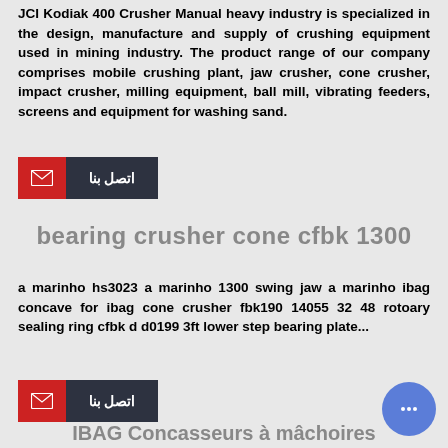JCI Kodiak 400 Crusher Manual heavy industry is specialized in the design, manufacture and supply of crushing equipment used in mining industry. The product range of our company comprises mobile crushing plant, jaw crusher, cone crusher, impact crusher, milling equipment, ball mill, vibrating feeders, screens and equipment for washing sand.
[Figure (other): Contact button with envelope icon and Arabic text 'اتصل بنا' (Contact Us) on dark background]
bearing crusher cone cfbk 1300
a marinho hs3023 a marinho 1300 swing jaw a marinho ibag concave for ibag cone crusher fbk190 14055 32 48 rotoary sealing ring cfbk d d0199 3ft lower step bearing plate...
[Figure (other): Contact button with envelope icon and Arabic text 'اتصل بنا' (Contact Us) on dark background]
[Figure (other): Blue circular chat bubble button]
IBAG Concasseurs à mâchoires